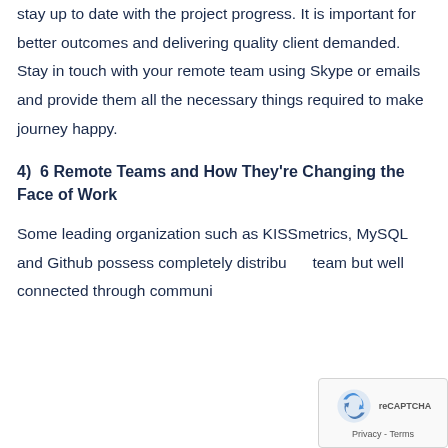stay up to date with the project progress. It is important for better outcomes and delivering quality client demanded. Stay in touch with your remote team using Skype or emails and provide them all the necessary things required to make journey happy.
4)  6 Remote Teams and How They're Changing the Face of Work
Some leading organization such as KISSmetrics, MySQL and Github possess completely distributed team but well connected through communi...